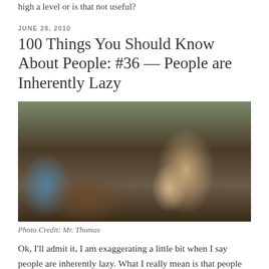high a level or is that not useful?
JUNE 28, 2010
100 Things You Should Know About People: #36 — People are Inherently Lazy
[Figure (photo): A man lying on a couch or bed, resting lazily, wrapped in blankets, pointing a finger or fist toward camera]
Photo Credit: Mr. Thomas
Ok, I'll admit it, I am exaggerating a little bit when I say people are inherently lazy. What I really mean is that people will do the least amount of work possible to get a